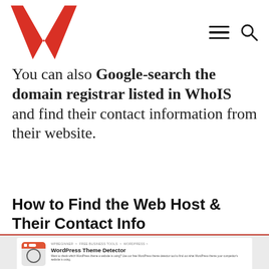W [logo] [hamburger menu] [search icon]
You can also Google-search the domain registrar listed in WhoIS and find their contact information from their website.
How to Find the Web Host & Their Contact Info
[Figure (screenshot): Screenshot of WordPress Theme Detector tool webpage showing a WordPress logo icon, breadcrumb navigation (WPBEGINNER > FREE BUSINESS TOOLS > WORDPRESS), title 'WordPress Theme Detector', description text, and an 'Analyse Website' button with an input field.]